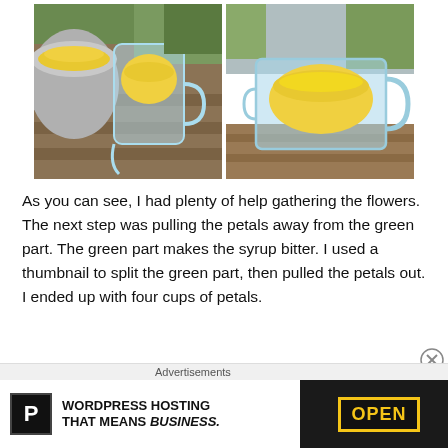[Figure (photo): Two photos side by side: left photo shows a glass measuring cup filled with yellow dandelion petals on a wooden deck railing with a metal pot visible; right photo shows a Pyrex glass measuring cup filled with yellow dandelion petals on a wooden surface outdoors.]
As you can see, I had plenty of help gathering the flowers. The next step was pulling the petals away from the green part. The green part makes the syrup bitter. I used a thumbnail to split the green part, then pulled the petals out. I ended up with four cups of petals.
Advertisements
[Figure (screenshot): Advertisement banner: WordPress Hosting That Means Business. with Pressable P logo on left white section and OPEN sign image on right dark section.]